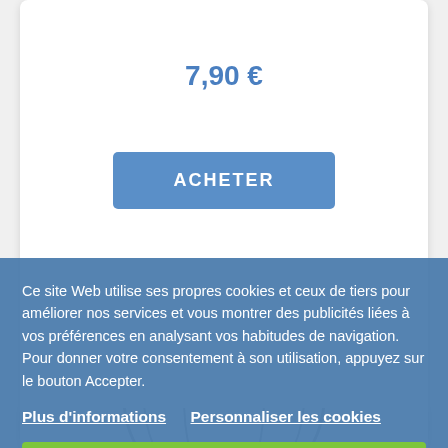7,90 €
ACHETER
[Figure (illustration): Globe icon partially visible behind cookie consent overlay]
Ce site Web utilise ses propres cookies et ceux de tiers pour améliorer nos services et vous montrer des publicités liées à vos préférences en analysant vos habitudes de navigation. Pour donner votre consentement à son utilisation, appuyez sur le bouton Accepter.
Plus d'informations   Personnaliser les cookies
REJETER TOUT
J'ACCEPTE